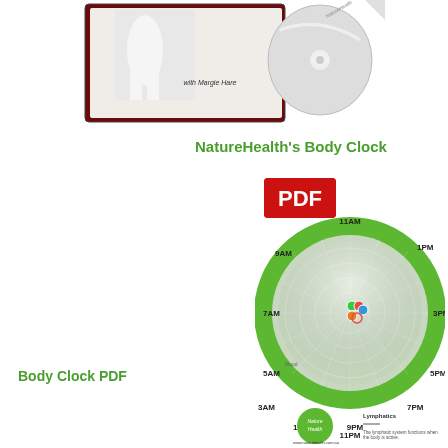[Figure (photo): Top portion of a DVD/CD product package showing a person and text 'with Margie Hare']
NatureHealth's Body Clock
[Figure (infographic): NatureHealth's Body Clock circular diagram showing time labels (11AM, 1PM, 3PM, 5PM, 7PM, 9PM, 11PM, 1AM, 3AM, 5AM, 7AM, 9AM) around a green and silver radial clock with colored center markers. Includes NatureHealth logo, website info, and a legend for Lymphatics.]
Body Clock PDF